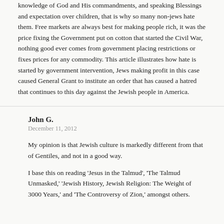knowledge of God and His commandments, and speaking Blessings and expectation over children, that is why so many non-jews hate them. Free markets are always best for making people rich, it was the price fixing the Government put on cotton that started the Civil War, nothing good ever comes from government placing restrictions or fixes prices for any commodity. This article illustrates how hate is started by government intervention, Jews making profit in this case caused General Grant to institute an order that has caused a hatred that continues to this day against the Jewish people in America.
John G.
December 11, 2012
My opinion is that Jewish culture is markedly different from that of Gentiles, and not in a good way.
I base this on reading 'Jesus in the Talmud', 'The Talmud Unmasked,' 'Jewish History, Jewish Religion: The Weight of 3000 Years,' and 'The Controversy of Zion,' amongst others.